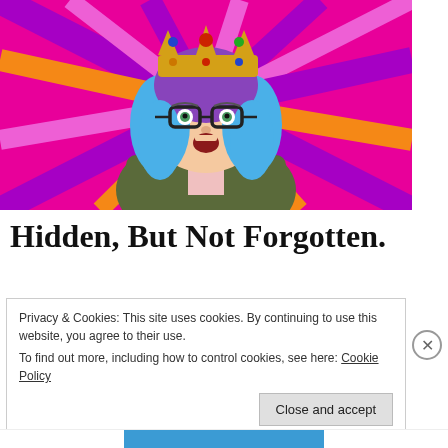[Figure (illustration): Cartoon bitmoji character: a woman with blue/purple hair, glasses, wearing an olive jacket, with a gold crown on her head. Background is bright pink/magenta with purple and orange radiating sunburst rays.]
Hidden, But Not Forgotten.
Privacy & Cookies: This site uses cookies. By continuing to use this website, you agree to their use.
To find out more, including how to control cookies, see here: Cookie Policy
Close and accept